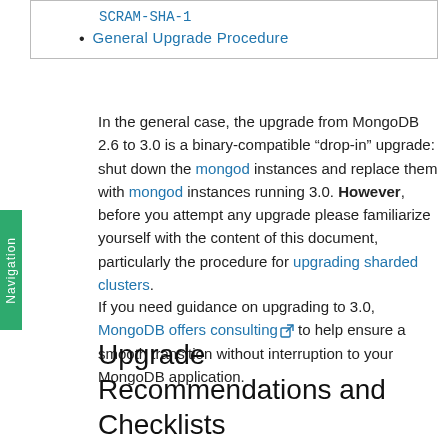SCRAM-SHA-1
General Upgrade Procedure
In the general case, the upgrade from MongoDB 2.6 to 3.0 is a binary-compatible “drop-in” upgrade: shut down the mongod instances and replace them with mongod instances running 3.0. However, before you attempt any upgrade please familiarize yourself with the content of this document, particularly the procedure for upgrading sharded clusters.
If you need guidance on upgrading to 3.0, MongoDB offers consulting to help ensure a smooth transition without interruption to your MongoDB application.
Upgrade Recommendations and Checklists